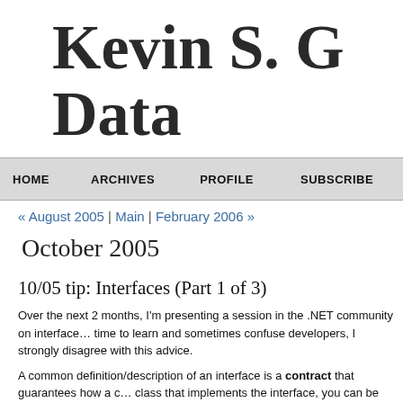Kevin S. G... Data
HOME | ARCHIVES | PROFILE | SUBSCRIBE
« August 2005 | Main | February 2006 »
October 2005
10/05 tip: Interfaces (Part 1 of 3)
Over the next 2 months, I'm presenting a session in the .NET community on interfaces. time to learn and sometimes confuse developers, I strongly disagree with this advice.
A common definition/description of an interface is a contract that guarantees how a class that implements the interface, you can be assured that the class will contain eve